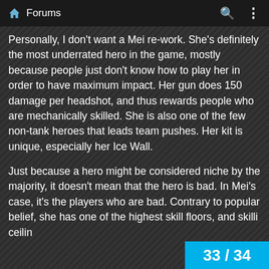Forums
Personally, I don't want a Mei re-work. She's definitely the most underrated hero in the game, mostly because people just don't know how to play her in order to have maximum impact. Her gun does 150 damage per headshot, and thus rewards people who are mechanically skilled. She is also one of the few non-tank heroes that leads team pushes. Her kit is unique, especially her Ice Wall.
Just because a hero might be considered niche by the majority, it doesn't mean that the hero is bad. In Mei's case, it's the players who are bad. Contrary to popular belief, she has one of the highest skill floors, and skilli ceilin
33 / 34